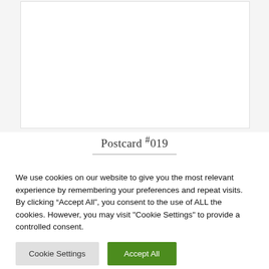[Figure (other): White card/postcard image placeholder with light border on grey background]
Postcard #019
We use cookies on our website to give you the most relevant experience by remembering your preferences and repeat visits. By clicking “Accept All”, you consent to the use of ALL the cookies. However, you may visit "Cookie Settings" to provide a controlled consent.